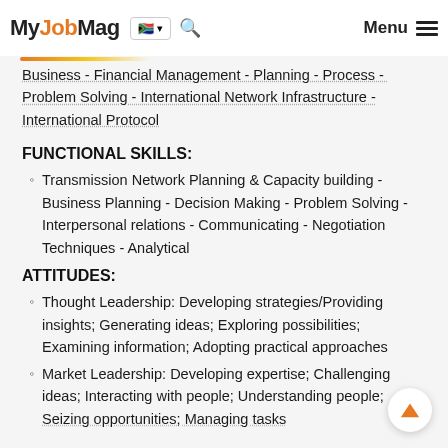MyJobMag [SA flag] [search] Menu
Business - Financial Management - Planning - Process - Problem Solving - International Network Infrastructure - International Protocol
FUNCTIONAL SKILLS:
Transmission Network Planning & Capacity building - Business Planning - Decision Making - Problem Solving - Interpersonal relations - Communicating - Negotiation Techniques - Analytical
ATTITUDES:
Thought Leadership: Developing strategies/Providing insights; Generating ideas; Exploring possibilities; Examining information; Adopting practical approaches
Market Leadership: Developing expertise; Challenging ideas; Interacting with people; Understanding people; Seizing opportunities; Managing tasks